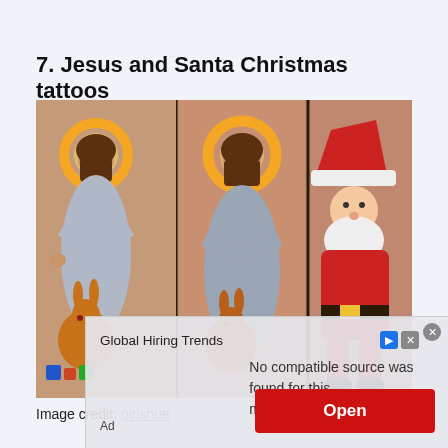7. Jesus and Santa Christmas tattoos
[Figure (photo): Photograph of tattoos on a person's body showing Jesus figures with halos and a rabbit, and Santa Claus, displayed in three side-by-side panels on skin.]
Image credit: girlshue
[Figure (other): Advertisement overlay with 'Global Hiring Trends' title, an 'Open' red button, and error text reading 'No compatible source was found for this media.']